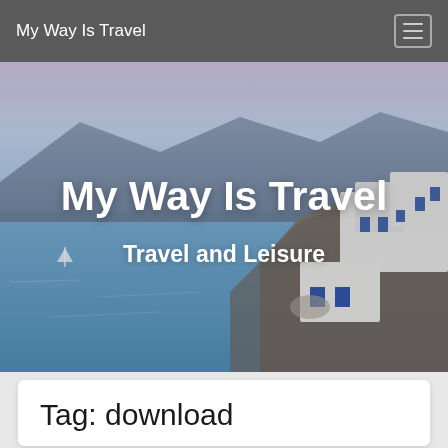My Way Is Travel
[Figure (photo): Scenic photo of Santorini, Greece with white buildings on cliffs overlooking a blue sea and mountains in the background, with the text 'My Way Is Travel' and 'Travel and Leisure' overlaid in white]
My Way Is Travel
Travel and Leisure
Tag: download
7 Helpful Journey Apps To Download